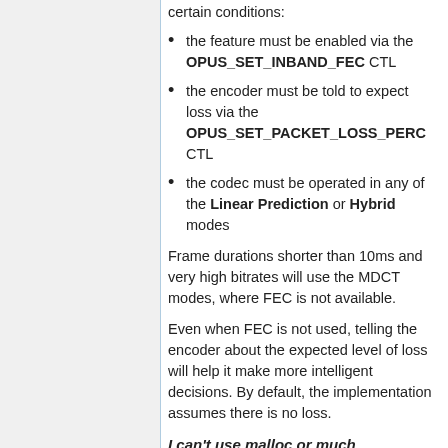the feature must be enabled via the OPUS_SET_INBAND_FEC CTL
the encoder must be told to expect loss via the OPUS_SET_PACKET_LOSS_PERC CTL
the codec must be operated in any of the Linear Prediction or Hybrid modes
Frame durations shorter than 10ms and very high bitrates will use the MDCT modes, where FEC is not available.
Even when FEC is not used, telling the encoder about the expected level of loss will help it make more intelligent decisions. By default, the implementation assumes there is no loss.
I can't use malloc or much